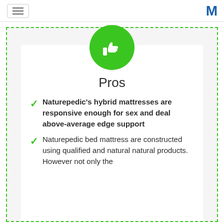≡  M
[Figure (illustration): Green circle with white thumbs-up icon]
Pros
Naturepedic's hybrid mattresses are responsive enough for sex and deal above-average edge support
Naturepedic bed mattress are constructed using qualified and natural natural products. However not only the